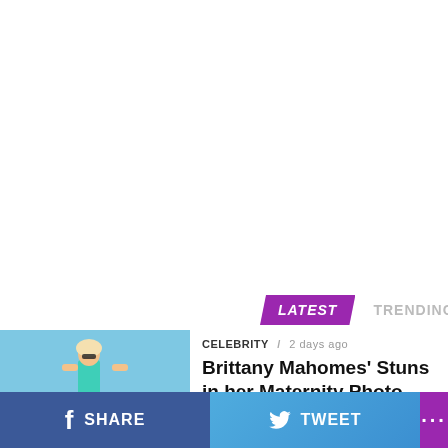[Figure (other): Tab bar with LATEST (purple highlighted) and TRENDING (gray) tabs]
[Figure (photo): Thumbnail photo of a blonde woman in a teal shirt and shorts walking outdoors on a sunny day]
CELEBRITY / 2 days ago
Brittany Mahomes' Stuns in her Maternity Photo
SHARE   TWEET   ...